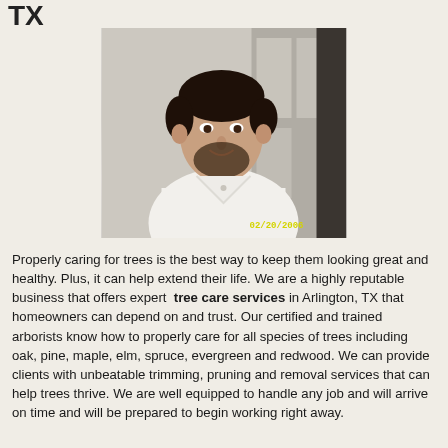TX
[Figure (photo): Portrait photo of a man with dark hair and beard wearing a white shirt, dated 02/20/2006]
Properly caring for trees is the best way to keep them looking great and healthy. Plus, it can help extend their life. We are a highly reputable business that offers expert tree care services in Arlington, TX that homeowners can depend on and trust. Our certified and trained arborists know how to properly care for all species of trees including oak, pine, maple, elm, spruce, evergreen and redwood. We can provide clients with unbeatable trimming, pruning and removal services that can help trees thrive. We are well equipped to handle any job and will arrive on time and will be prepared to begin working right away.